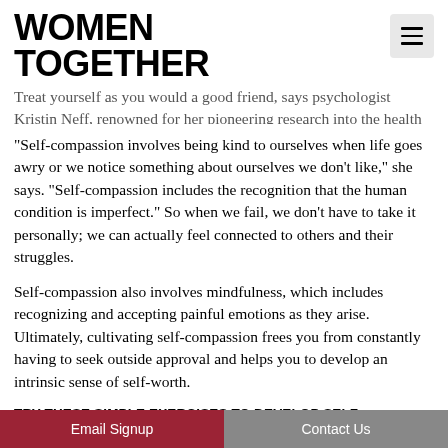WOMEN TOGETHER
Treat yourself as you would a good friend, says psychologist Kristin Neff, renowned for her pioneering research into the health benefits of self-compassion.
“Self-compassion involves being kind to ourselves when life goes awry or we notice something about ourselves we don’t like,” she says. “Self-compassion includes the recognition that the human condition is imperfect.” So when we fail, we don’t have to take it personally; we can actually feel connected to others and their struggles.
Self-compassion also involves mindfulness, which includes recognizing and accepting painful emotions as they arise. Ultimately, cultivating self-compassion frees you from constantly having to seek outside approval and helps you to develop an intrinsic sense of self-worth.
TRY THESE SIMPLE EXERCISES TO DEVELOP SELF-COMPASSION
Write yourself a letter of support, just as you might write a l[etter to a friend going through a similar concer...]